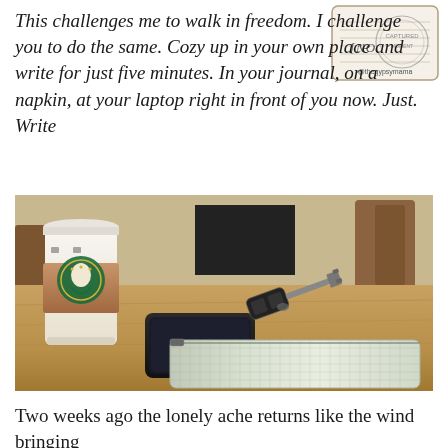This challenges me to walk in freedom. I challenge you to do the same. Cozy up in your own place and write for just five minutes. In your journal, on a napkin, at your laptop right in front of you now. Just. Write
[Figure (photo): A Starbucks coffee cup on a wooden table at a cafe, with a black smartphone, car keys, and a silver metallic clutch/wallet in the foreground. Chairs and a blurred background are visible.]
Two weeks ago the lonely ache returns like the wind bringing